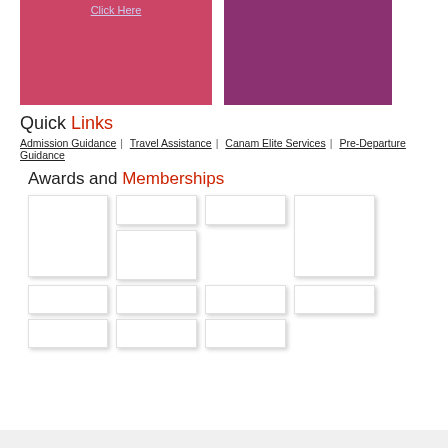[Figure (illustration): Red banner with 'Click Here' link text]
[Figure (illustration): Purple/magenta banner]
Quick Links
Admission Guidance | Travel Assistance | Canam Elite Services | Pre-Departure Guidance
Awards and Memberships
[Figure (illustration): Grid of award/membership logo placeholder boxes]